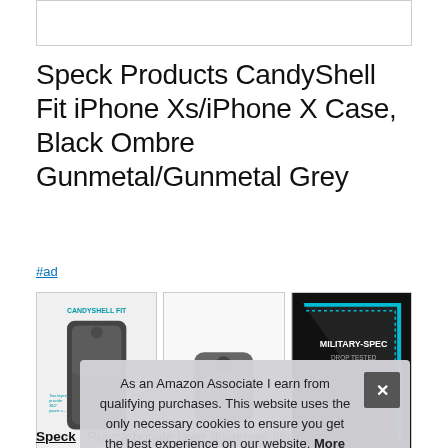[Figure (other): Top image placeholder box, mostly white with border]
Speck Products CandyShell Fit iPhone Xs/iPhone X Case, Black Ombre Gunmetal/Gunmetal Grey
#ad
[Figure (photo): Three product images: CandyShell Fit phone case back view, side view of phone case, and Military-Spec Drop Tested badge graphic]
As an Amazon Associate I earn from qualifying purchases. This website uses the only necessary cookies to ensure you get the best experience on our website. More information
Speck - Polycarbonate layer disperses impact while interior